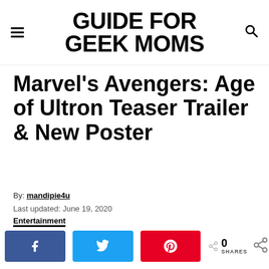GUIDE FOR GEEK MOMS
Marvel's Avengers: Age of Ultron Teaser Trailer & New Poster
By: mandipie4u
Last updated: June 19, 2020
Entertainment
[Figure (other): Social share bar with Facebook, Twitter, Pinterest buttons and 0 SHARES count]